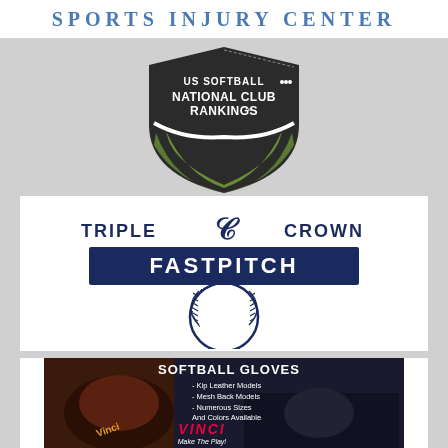[Figure (logo): Sports Injury Center banner logo with blue text on white background]
[Figure (logo): US Softball National Club Rankings shield logo — dark charcoal top half with white text US SOFTBALL and NATIONAL CLUB RANKINGS, green lower shield portion]
[Figure (logo): Triple Crown Fastpitch logo — dark navy text TRIPLE CROWN above a dark navy rectangle with white text FASTPITCH, softball stitching circle below]
[Figure (illustration): Softball Gloves advertisement — dark background, SOFTBALL GLOVES heading, bullet points: Kip Leather Models, Mesh Back Models, Numerous Sizes And Colors Available, VINCI Make The Play! text in red, softball glove and helmet imagery]